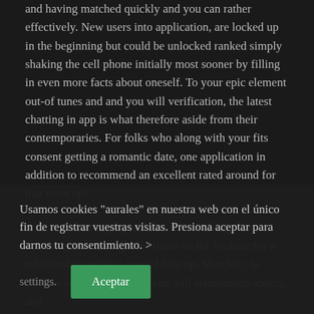and having matched quickly and you can rather effectively. New users into application, are locked up in the beginning but could be unlocked ranked simply shaking the cell phone initially most sooner by filling in even more facts about oneself. To your epic element out-of tunes and and you will verification, the latest chatting in app is what therefore aside from their contemporaries. For folks who along with your fits consent getting a romantic date, one application in addition to recommend an excellent rated around for that meet up!
it isn't as challenging and you will challenge i state, one thing just the right for those on the lookout for a relationship unlike a special link-up. Matchify, is another app on dating and you will relationship spaces, and
Usamos cookies "aurales" en nuestra web con el único fin de registrar vuestras visitas. Presiona aceptar para darnos tu consentimiento. > settings.